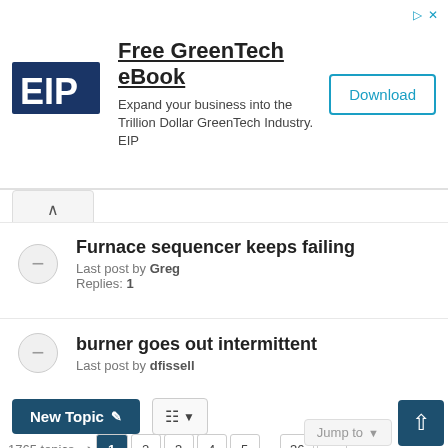[Figure (other): EIP (Emerging Industry Professionals) advertisement banner for a Free GreenTech eBook with Download button]
Furnace sequencer keeps failing
Last post by Greg
Replies: 1
burner goes out intermittent
Last post by dfissell
New Topic  [sort icon]
1765 topics  1  2  3  4  5  ...  36  >
Jump to ↑